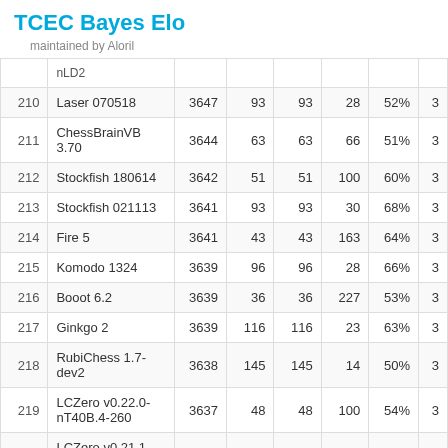TCEC Bayes Elo
maintained by Aloril
| # | Engine | Elo | Games | Games | Opp | % |  |
| --- | --- | --- | --- | --- | --- | --- | --- |
|  | nLD2 |  |  |  |  |  |  |
| 210 | Laser 070518 | 3647 | 93 | 93 | 28 | 52% | 3 |
| 211 | ChessBrainVB 3.70 | 3644 | 63 | 63 | 66 | 51% | 3 |
| 212 | Stockfish 180614 | 3642 | 51 | 51 | 100 | 60% | 3 |
| 213 | Stockfish 021113 | 3641 | 93 | 93 | 30 | 68% | 3 |
| 214 | Fire 5 | 3641 | 43 | 43 | 163 | 64% | 3 |
| 215 | Komodo 1324 | 3639 | 96 | 96 | 28 | 66% | 3 |
| 216 | Booot 6.2 | 3639 | 36 | 36 | 227 | 53% | 3 |
| 217 | Ginkgo 2 | 3639 | 116 | 116 | 23 | 63% | 3 |
| 218 | RubiChess 1.7-dev2 | 3638 | 145 | 145 | 14 | 50% | 3 |
| 219 | LCZero v0.22.0-nT40B.4-260 | 3637 | 48 | 48 | 100 | 54% | 3 |
| 220 | LCZero v0.21.1-nT40.T8.610 | 3636 | 49 | 49 | 100 | 54% | 3 |
| 221 | Stockfish 231014 | 3635 | 151 | 151 | 13 | 77% |  |